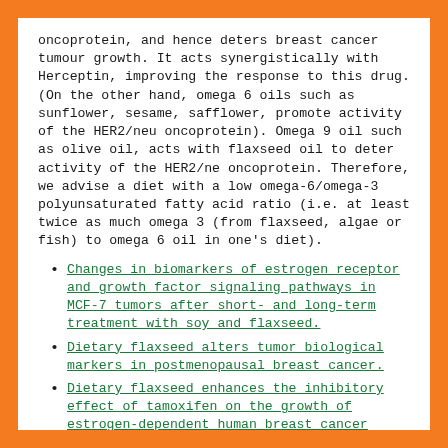oncoprotein, and hence deters breast cancer tumour growth. It acts synergistically with Herceptin, improving the response to this drug. (On the other hand, omega 6 oils such as sunflower, sesame, safflower, promote activity of the HER2/neu oncoprotein). Omega 9 oil such as olive oil, acts with flaxseed oil to deter activity of the HER2/ne oncoprotein. Therefore, we advise a diet with a low omega-6/omega-3 polyunsaturated fatty acid ratio (i.e. at least twice as much omega 3 (from flaxseed, algae or fish) to omega 6 oil in one's diet).
Changes in biomarkers of estrogen receptor and growth factor signaling pathways in MCF-7 tumors after short- and long-term treatment with soy and flaxseed.
Dietary flaxseed alters tumor biological markers in postmenopausal breast cancer.
Dietary flaxseed enhances the inhibitory effect of tamoxifen on the growth of estrogen-dependent human breast cancer (mcf-7) in nude mice.
Dietary flaxseed inhibits human breast